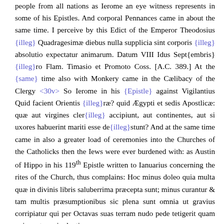people from all nations as Ierome an eye witness represents in some of his Epistles. And corporal Pennances came in about the same time. I perceive by this Edict of the Emperor Theodosius {illeg} Quadragesimæ diebus nulla supplicia sint corporis {illeg} absolutio expectatur animarum. Datum VIII Idus Sept{embris} {illeg}ro Flam. Timasio et Promoto Coss. [A.C. 389.] At the {same} time also with Monkery came in the Cælibacy of the Clergy <30v> So Ierome in his {Epistle} against Vigilantius Quid facient Orientis {illeg}ræ? quid Ægypti et sedis Apostlicæ: quæ aut virgines cler{illeg} accipiunt, aut continentes, aut si uxores habuerint mariti esse de{illeg}stunt? And at the same time came in also a greater load of ceremonies into the Churches of the Catholicks then the Iews were ever burdened with: as Austin of Hippo in his 119th Epistle written to Ianuarius concerning the rites of the Church, thus complains: Hoc minus doleo quia multa quæ in divinis libris saluberrima præcepta sunt; minus curantur & tam multis præsumptionibus sic plena sunt omnia ut gravius corripiatur qui per Octavas suas terram nudo pede tetigerit quam qui mentem vinolentia